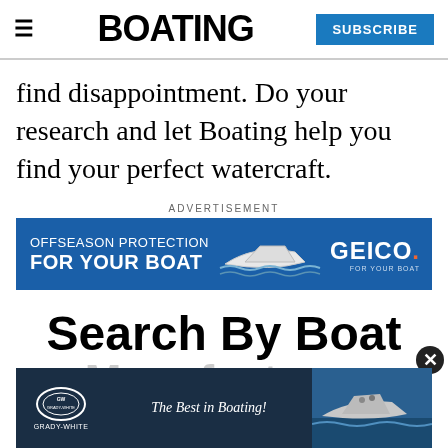≡  BOATING  SUBSCRIBE
find disappointment. Do your research and let Boating help you find your perfect watercraft.
ADVERTISEMENT
[Figure (illustration): GEICO ad banner: OFFSEASON PROTECTION FOR YOUR BOAT with boat illustration and GEICO FOR YOUR BOAT logo]
Search By Boat
Manufacturer
[Figure (illustration): Grady-White boats advertisement: The Best in Boating! with boat photo background]